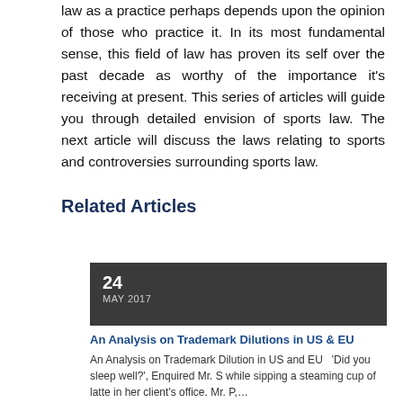law as a practice perhaps depends upon the opinion of those who practice it. In its most fundamental sense, this field of law has proven its self over the past decade as worthy of the importance it's receiving at present. This series of articles will guide you through detailed envision of sports law. The next article will discuss the laws relating to sports and controversies surrounding sports law.
Related Articles
24
MAY 2017
An Analysis on Trademark Dilutions in US & EU
An Analysis on Trademark Dilution in US and EU  'Did you sleep well?', Enquired Mr. S while sipping a steaming cup of latte in her client's office. Mr. P,…